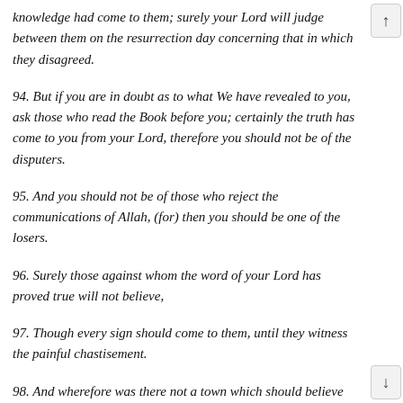knowledge had come to them; surely your Lord will judge between them on the resurrection day concerning that in which they disagreed.
94.   But if you are in doubt as to what We have revealed to you, ask those who read the Book before you; certainly the truth has come to you from your Lord, therefore you should not be of the disputers.
95.   And you should not be of those who reject the communications of Allah, (for) then you should be one of the losers.
96.   Surely those against whom the word of your Lord has proved true will not believe,
97.   Though every sign should come to them, until they witness the painful chastisement.
98.   And wherefore was there not a town which should believe so that their belief should have profited them but the people of Yunus? When they believed, We removed from them the chastisement of disgrace in this world's life and We gave them provision till a time.
99.   And if your Lord had pleased, surely all those who are in the earth would have believed, all of them; will you then force men till they become